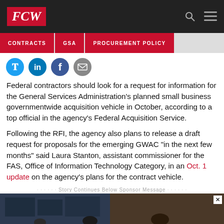FCW
CONTRACTS
GSA
PROCUREMENT POLICY
Federal contractors should look for a request for information for the General Services Administration's planned small business governmentwide acquisition vehicle in October, according to a top official in the agency's Federal Acquisition Service.
Following the RFI, the agency also plans to release a draft request for proposals for the emerging GWAC "in the next few months" said Laura Stanton, assistant commissioner for the FAS, Office of Information Technology Category, in an Oct. 1 update on the agency's plans for the contract vehicle.
Story Continues Below Sponsor Message
[Figure (photo): Advertisement image showing military/government personnel at computer workstations with screens in the background]